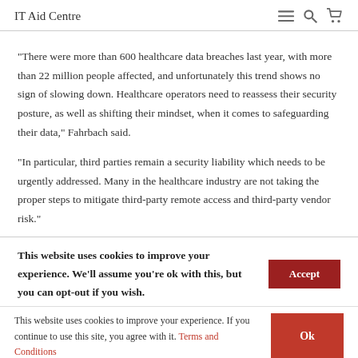IT Aid Centre
“There were more than 600 healthcare data breaches last year, with more than 22 million people affected, and unfortunately this trend shows no sign of slowing down. Healthcare operators need to reassess their security posture, as well as shifting their mindset, when it comes to safeguarding their data,” Fahrbach said.
“In particular, third parties remain a security liability which needs to be urgently addressed. Many in the healthcare industry are not taking the proper steps to mitigate third-party remote access and third-party vendor risk.”
This website uses cookies to improve your experience. We'll assume you're ok with this, but you can opt-out if you wish.
This website uses cookies to improve your experience. If you continue to use this site, you agree with it. Terms and Conditions